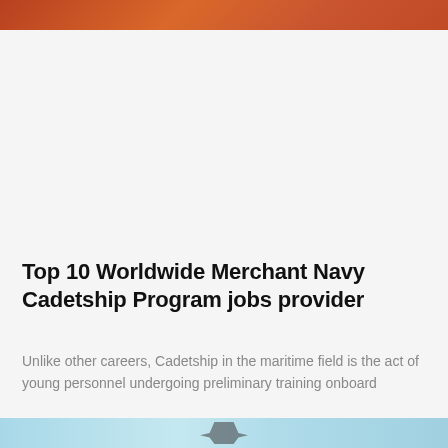[Figure (photo): Partial view of an image at the top of the page showing orange/red tones, likely a maritime or nautical scene.]
Top 10 Worldwide Merchant Navy Cadetship Program jobs provider
Unlike other careers, Cadetship in the maritime field is the act of young personnel undergoing preliminary training onboard
[Figure (photo): Partial view of an image at the bottom of the page showing a light blue background with what appears to be a ship anchor or maritime equipment.]